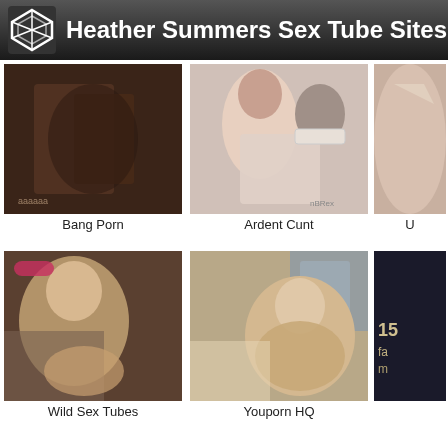Heather Summers Sex Tube Sites
[Figure (photo): Thumbnail image - Bang Porn]
Bang Porn
[Figure (photo): Thumbnail image - Ardent Cunt]
Ardent Cunt
[Figure (photo): Partial thumbnail on right]
[Figure (photo): Thumbnail image - Wild Sex Tubes]
Wild Sex Tubes
[Figure (photo): Thumbnail image - Youporn HQ]
Youporn HQ
[Figure (photo): Partial thumbnail bottom right with text: 15 fa]